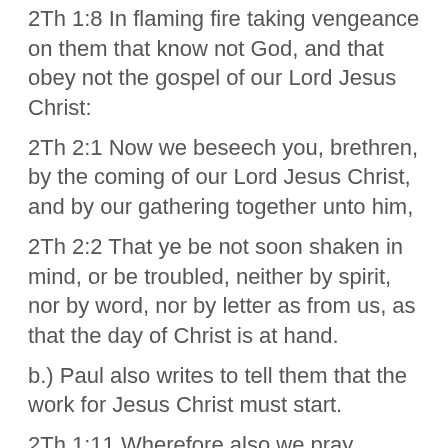2Th 1:8  In flaming fire taking vengeance on them that know not God, and that obey not the gospel of our Lord Jesus Christ:
2Th 2:1  Now we beseech you, brethren, by the coming of our Lord Jesus Christ, and by our gathering together unto him,
2Th 2:2  That ye be not soon shaken in mind, or be troubled, neither by spirit, nor by word, nor by letter as from us, as that the day of Christ is at hand.
b.) Paul also writes to tell them that the work for Jesus Christ must start.
2Th 1:11  Wherefore also we pray always for you, that our God would count you worthy of this calling, and fulfil all the good pleasure of his goodness, and the work of faith with power:
2Th 1:12  That the name of our Lord Jesus Christ may be glorified in you, and ye in him, according to the grace of